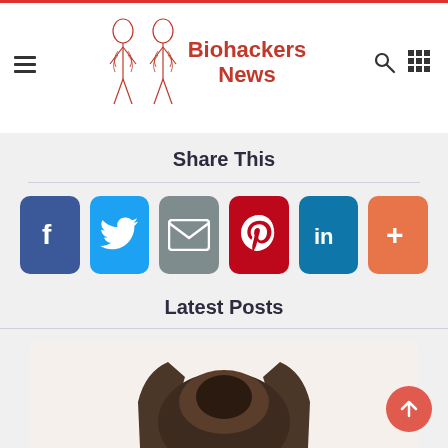Biohackers News
Share This
[Figure (infographic): Social share buttons: Facebook, Twitter, Email, Pinterest, LinkedIn, More (+)]
Latest Posts
[Figure (photo): Photo of a dog (chihuahua) seen from behind, showing ears and top of head on white background]